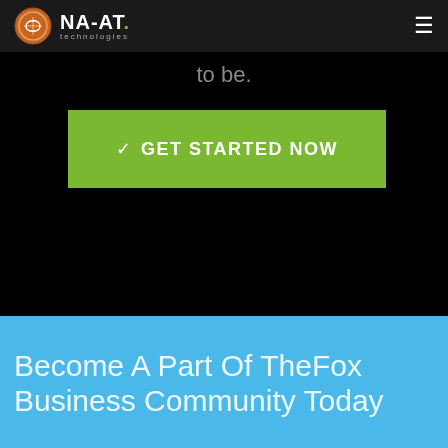NA-AT technologies
to be.
✓ GET STARTED NOW
Become A Part Of TheFox Business Community Today